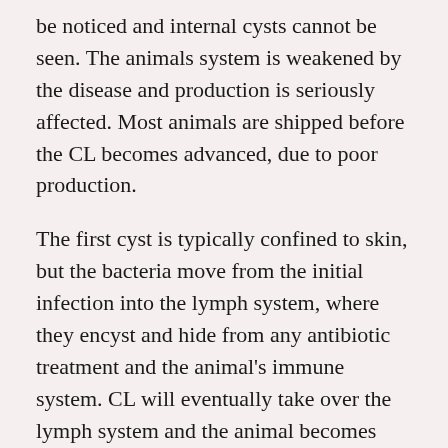be noticed and internal cysts cannot be seen. The animals system is weakened by the disease and production is seriously affected. Most animals are shipped before the CL becomes advanced, due to poor production.
The first cyst is typically confined to skin, but the bacteria move from the initial infection into the lymph system, where they encyst and hide from any antibiotic treatment and the animal's immune system. CL will eventually take over the lymph system and the animal becomes emaciated and covered with oozing cysts. Many countries condemn the meat of animals when cysts are observed during slaughter. The US does not, but requires cysts in the meat to be cut out.
CL can infect humans and treatment is painful,